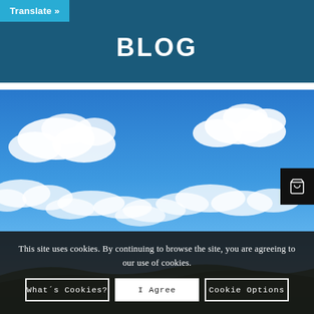Translate »
BLOG
[Figure (photo): Outdoor photo of a blue sky with scattered white cumulus clouds and a hilly green landscape at the bottom]
This site uses cookies. By continuing to browse the site, you are agreeing to our use of cookies.
What´s Cookies? | I Agree | Cookie Options